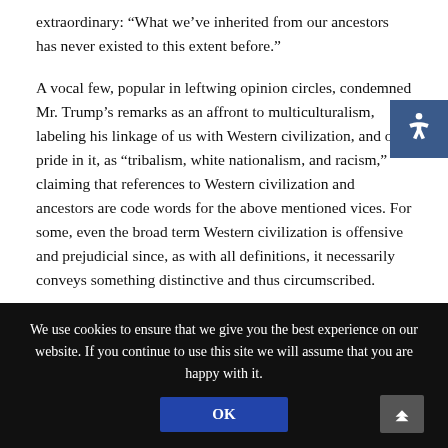extraordinary: “What we’ve inherited from our ancestors has never existed to this extent before.”
A vocal few, popular in leftwing opinion circles, condemned Mr. Trump’s remarks as an affront to multiculturalism, labeling his linkage of us with Western civilization, and our pride in it, as “tribalism, white nationalism, and racism,” claiming that references to Western civilization and ancestors are code words for the above mentioned vices. For some, even the broad term Western civilization is offensive and prejudicial since, as with all definitions, it necessarily conveys something distinctive and thus circumscribed.
We use cookies to ensure that we give you the best experience on our website. If you continue to use this site we will assume that you are happy with it.